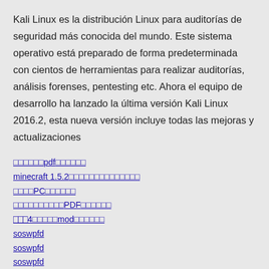Kali Linux es la distribución Linux para auditorías de seguridad más conocida del mundo. Este sistema operativo está preparado de forma predeterminada con cientos de herramientas para realizar auditorías, análisis forenses, pentesting etc. Ahora el equipo de desarrollo ha lanzado la última versión Kali Linux 2016.2, esta nueva versión incluye todas las mejoras y actualizaciones
□□□□□□□pdf□□□□□□□
minecraft 1.5.2□□□□□□□□□□□□□□□□
□□□□PC□□□□□□
□□□□□□□□□□□PDF□□□□□□
⿴⿴⿴4□□□□□mod□□□□□□
soswpfd
soswpfd
soswpfd
soswpfd
soswpfd